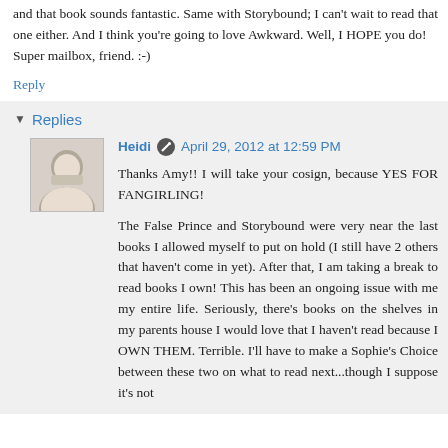and that book sounds fantastic. Same with Storybound; I can't wait to read that one either. And I think you're going to love Awkward. Well, I HOPE you do!
Super mailbox, friend. :-)
Reply
Replies
Heidi  April 29, 2012 at 12:59 PM
Thanks Amy!! I will take your cosign, because YES FOR FANGIRLING!

The False Prince and Storybound were very near the last books I allowed myself to put on hold (I still have 2 others that haven't come in yet). After that, I am taking a break to read books I own! This has been an ongoing issue with me my entire life. Seriously, there's books on the shelves in my parents house I would love that I haven't read because I OWN THEM. Terrible. I'll have to make a Sophie's Choice between these two on what to read next...though I suppose it's not